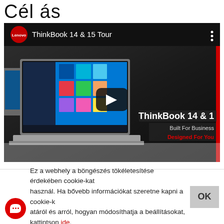Cél ás
[Figure (screenshot): YouTube-style embedded video thumbnail showing Lenovo ThinkBook 14 & 15 Tour. Dark background with laptop product image. Play button in center. Brand overlay reads 'ThinkBook 14 & 1', 'Built For Business', 'Designed For You'. Red sidebar on right.]
Ez a webhely a böngészés tökéletesítése érdekében cookie-kat használ. Ha bővebb információkat szeretne kapni a cookie-k atáról és arról, hogyan módosíthatja a beállításokat, kattintson ide.